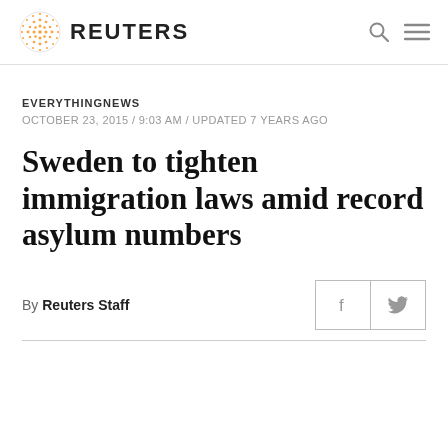REUTERS
EVERYTHINGNEWS
OCTOBER 23, 2015 / 9:03 AM / UPDATED 7 YEARS AGO
Sweden to tighten immigration laws amid record asylum numbers
By Reuters Staff